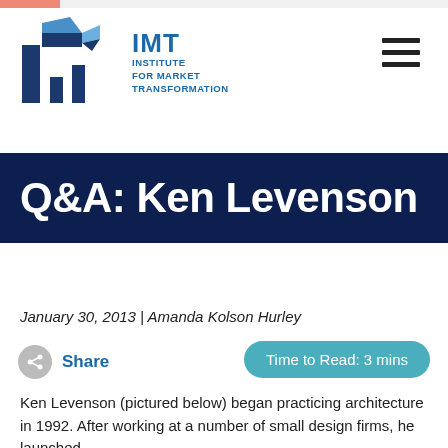[Figure (logo): IMT Institute for Market Transformation logo with geometric building icon in shades of blue]
Q&A: Ken Levenson
January 30, 2013 | Amanda Kolson Hurley
Share   Time to Read: 3 mins
Ken Levenson (pictured below) began practicing architecture in 1992. After working at a number of small design firms, he launched